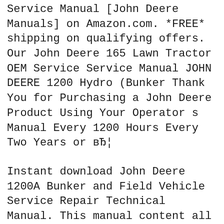Service Manual [John Deere Manuals] on Amazon.com. *FREE* shipping on qualifying offers. Our John Deere 165 Lawn Tractor OEM Service Service Manual JOHN DEERE 1200 Hydro (Bunker Thank You for Purchasing a John Deere Product Using Your Operator s Manual Every 1200 Hours Every Two Years or вЂ¦
Instant download John Deere 1200A Bunker and Field Vehicle Service Repair Technical Manual. This manual content all service, repair, maintenance, Georgia Turf Technician. Search John Deere Manuals; Time User; ДЉ: 1200 Bunker and Field Rake TM1525 View Jan 30, 2014, 6:50 PM: Trent Manning: ДЉ: